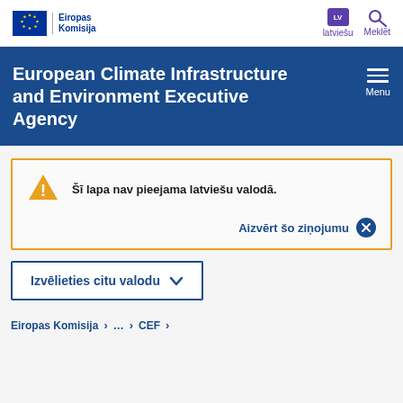Eiropas Komisija | latviešu | Meklēt
European Climate Infrastructure and Environment Executive Agency
Šī lapa nav pieejama latviešu valodā.
Aizvērt šo ziņojumu
Izvēlieties citu valodu
Eiropas Komisija > ... > CEF >